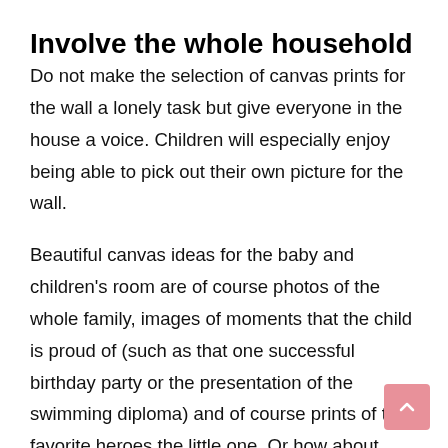Involve the whole household
Do not make the selection of canvas prints for the wall a lonely task but give everyone in the house a voice. Children will especially enjoy being able to pick out their own picture for the wall.
Beautiful canvas ideas for the baby and children’s room are of course photos of the whole family, images of moments that the child is proud of (such as that one successful birthday party or the presentation of the swimming diploma) and of course prints of the favorite heroes the little one. Or how about officially framed versions of the most beautiful works of